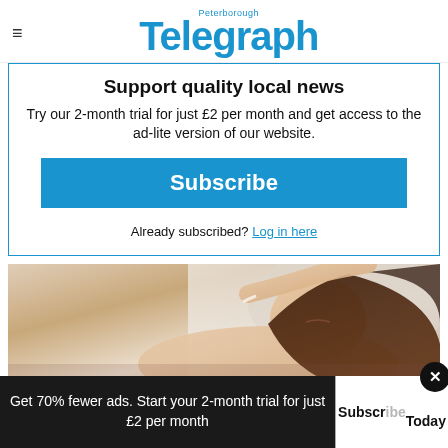Peterborough Telegraph
Support quality local news
Try our 2-month trial for just £2 per month and get access to the ad-lite version of our website.
Subscribe
Already subscribed? Log in here
[Figure (photo): Woman with dark hair sleeping comfortably in bed, eyes closed, arm raised above head]
Get 70% fewer ads. Start your 2-month trial for just £2 per month
Subscribe Today